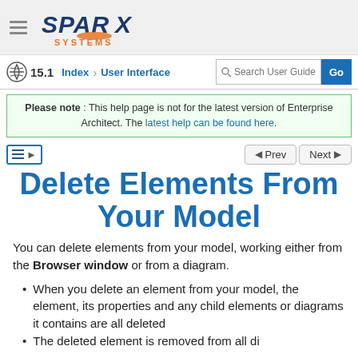SPARX SYSTEMS
15.1  Index  User Interface  Search User Guide  Go
Please note : This help page is not for the latest version of Enterprise Architect. The latest help can be found here.
Delete Elements From Your Model
You can delete elements from your model, working either from the Browser window or from a diagram.
When you delete an element from your model, the element, its properties and any child elements or diagrams it contains are all deleted
The deleted element is removed from all diagrams